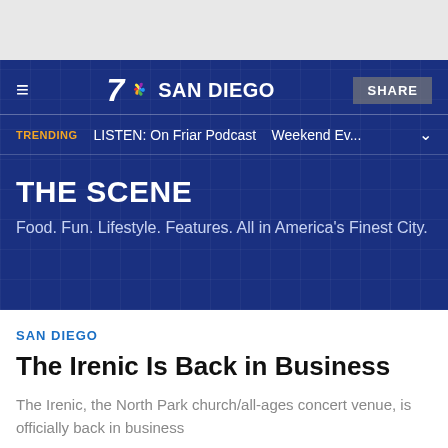7 NBC SAN DIEGO — SHARE
TRENDING  LISTEN: On Friar Podcast  Weekend Ev...
THE SCENE
Food. Fun. Lifestyle. Features. All in America's Finest City.
SAN DIEGO
The Irenic Is Back in Business
The Irenic, the North Park church/all-ages concert venue, is officially back in business